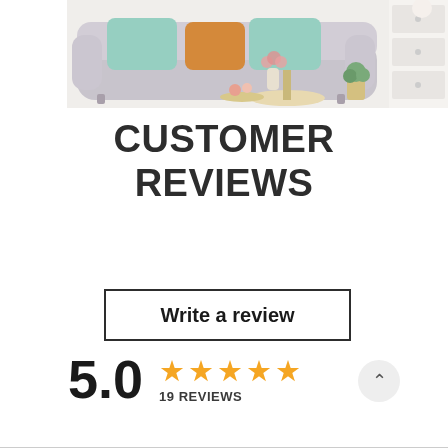[Figure (photo): Photo of a light grey sofa with teal/mint and mustard throw pillows, a small round side table with decorative items, flowers in a vase, and a white dresser partially visible on the right side]
CUSTOMER REVIEWS
Write a review
5.0 ★★★★★ 19 REVIEWS